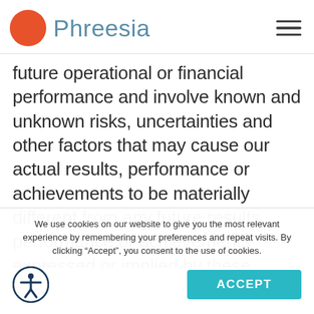Phreesia
future operational or financial performance and involve known and unknown risks, uncertainties and other factors that may cause our actual results, performance or achievements to be materially different from any future results, performance or achievements expressed or implied by these forward-looking statements. Furthermore, actual results may differ materially from those described in the forward-looking
We use cookies on our website to give you the most relevant experience by remembering your preferences and repeat visits. By clicking “Accept”, you consent to the use of cookies.